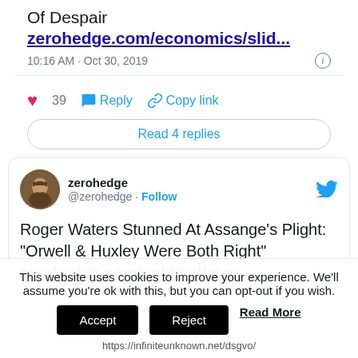Of Despair
zerohedge.com/economics/slid...
10:16 AM · Oct 30, 2019
39  Reply  Copy link
Read 4 replies
zerohedge @zerohedge · Follow
Roger Waters Stunned At Assange's Plight: "Orwell & Huxley Were Both Right" zerohedge.com/political/roge
This website uses cookies to improve your experience. We'll assume you're ok with this, but you can opt-out if you wish.
Accept  Reject  Read More
https://infiniteunknown.net/dsgvo/